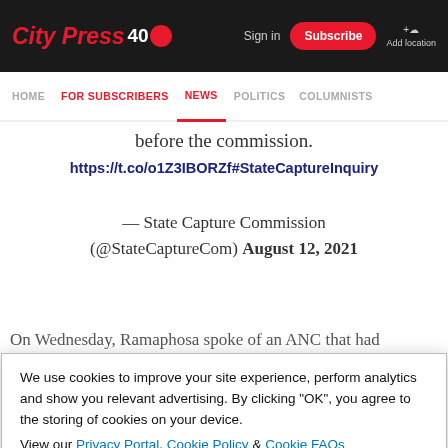City Press 40 — Sign in | Subscribe | Add location
HOME | FOR SUBSCRIBERS | NEWS | POLITICS | COLUMNISTS
before the commission.
https://t.co/o1Z3IBORZf#StateCaptureInquiry
— State Capture Commission (@StateCaptureCom) August 12, 2021
On Wednesday, Ramaphosa spoke of an ANC that had
We use cookies to improve your site experience, perform analytics and show you relevant advertising. By clicking "OK", you agree to the storing of cookies on your device. View our Privacy Portal, Cookie Policy & Cookie FAQs
OK